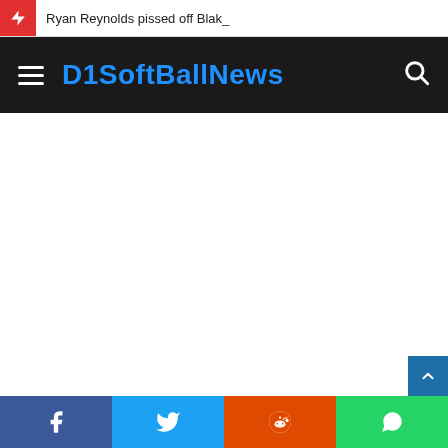Ryan Reynolds pissed off Blak_
D1SoftBallNews
[Figure (screenshot): Main content area of D1SoftBallNews website, blank white area below navigation]
[Figure (infographic): Social share buttons bar at bottom: Facebook, Twitter, Reddit, WhatsApp]